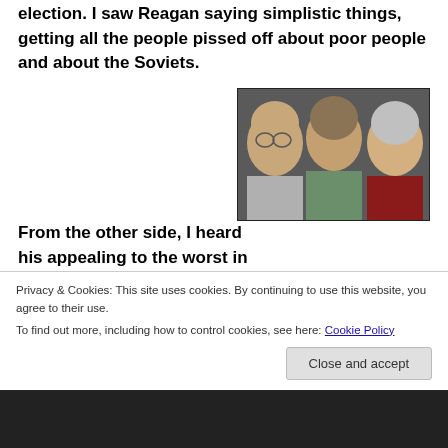election. I saw Reagan saying simplistic things, getting all the people pissed off about poor people and about the Soviets.
From the other side, I heard his appealing to the worst in people countered by reason, by sensible explanations and realistic proposals of a Dukakis, a Carter, and a Mondale. And then at the end it was.... it didn't mean a damn thing. Because people just felt
[Figure (photo): Three older men photographed together, shown from shoulders up, facing camera.]
Privacy & Cookies: This site uses cookies. By continuing to use this website, you agree to their use.
To find out more, including how to control cookies, see here: Cookie Policy
Close and accept